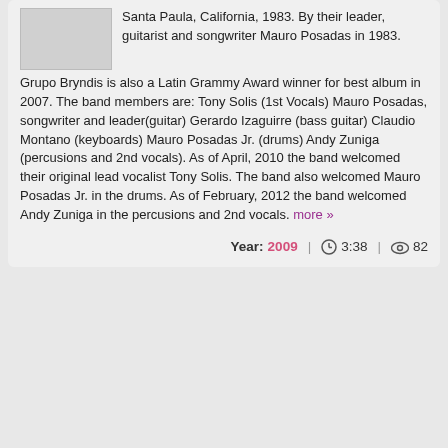Santa Paula, California, 1983. By their leader, guitarist and songwriter Mauro Posadas in 1983. Grupo Bryndis is also a Latin Grammy Award winner for best album in 2007. The band members are: Tony Solis (1st Vocals) Mauro Posadas, songwriter and leader(guitar) Gerardo Izaguirre (bass guitar) Claudio Montano (keyboards) Mauro Posadas Jr. (drums) Andy Zuniga (percusions and 2nd vocals). As of April, 2010 the band welcomed their original lead vocalist Tony Solis. The band also welcomed Mauro Posadas Jr. in the drums. As of February, 2012 the band welcomed Andy Zuniga in the percusions and 2nd vocals. more »
Year: 2009 | 3:38 | 82